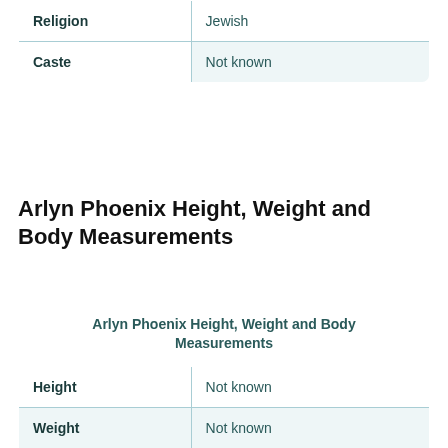|  |  |
| --- | --- |
| Religion | Jewish |
| Caste | Not known |
Arlyn Phoenix Height, Weight and Body Measurements
| Arlyn Phoenix Height, Weight and Body Measurements |
| --- |
| Height | Not known |
| Weight | Not known |
| Body Measurements | Not known |
| Eye Color | Grey |